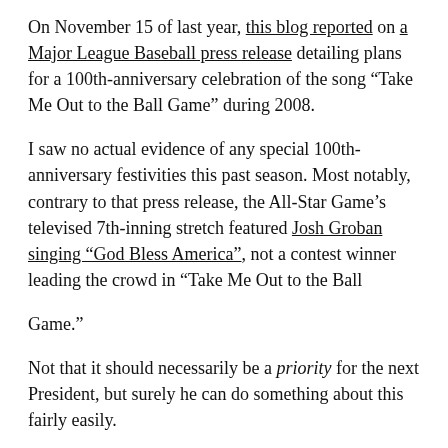On November 15 of last year, this blog reported on a Major League Baseball press release detailing plans for a 100th-anniversary celebration of the song “Take Me Out to the Ball Game” during 2008.
I saw no actual evidence of any special 100th-anniversary festivities this past season. Most notably, contrary to that press release, the All-Star Game’s televised 7th-inning stretch featured Josh Groban singing “God Bless America”, not a contest winner leading the crowd in “Take Me Out to the Ball
Game.”
Not that it should necessarily be a priority for the next President, but surely he can do something about this fairly easily.